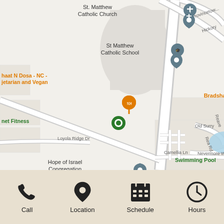[Figure (map): Google Maps screenshot showing area around Ballantyne, NC with landmarks: St. Matthew Catholic Church, St. Matthew Catholic School, Chaat N Dosa - NC - Vegetarian and Vegan, Planet Fitness, Bradshaw Social House, The Butcher's Market, Hope of Israel Congregation, Camden Stonecrest Apartments, Swimming Pool, Makeup and Hair Salon. Roads include Provincetown, Hickory, Old Surry, Nevermore Way, Rea Rd, Camellia Ln, Loyola Ridge Dr, Reave. Water feature (pond) near Camden Stonecrest Apartments.]
[Figure (infographic): Bottom navigation bar with four icons: Call (phone icon), Location (map pin icon), Schedule (calendar grid icon), Hours (clock icon). Background is tan/beige color.]